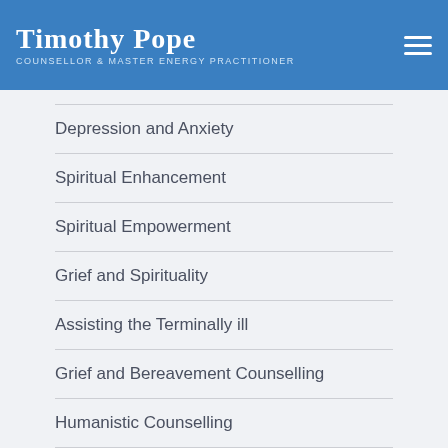Timothy Pope
Counsellor & Master Energy Practitioner
Depression and Anxiety
Spiritual Enhancement
Spiritual Empowerment
Grief and Spirituality
Assisting the Terminally ill
Grief and Bereavement Counselling
Humanistic Counselling
Person Centred Counselling
Chakras And The Endocrine System